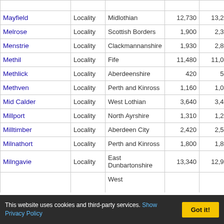| Name | Type | Council area | 2001 | 2011 | 2021 |
| --- | --- | --- | --- | --- | --- |
| Mayfield | Locality | Midlothian | 12,730 | 13,290 | 13,570 |
| Melrose | Locality | Scottish Borders | 1,900 | 2,310 | 2,510 |
| Menstrie | Locality | Clackmannanshire | 1,930 | 2,800 | 2,870 |
| Methil | Locality | Fife | 11,480 | 11,010 | 10,800 |
| Methlick | Locality | Aberdeenshire | 420 | 520 | 560 |
| Methven | Locality | Perth and Kinross | 1,160 | 1,090 | 1,300 |
| Mid Calder | Locality | West Lothian | 3,640 | 3,420 | 3,3?? |
| Millport | Locality | North Ayrshire | 1,310 | 1,280 | 1,220 |
| Milltimber | Locality | Aberdeen City | 2,420 | 2,560 | 2,780 |
| Milnathort | Locality | Perth and Kinross | 1,800 | 1,890 | 1,950 |
| Milngavie | Locality | East Dunbartonshire | 13,340 | 12,950 | 12,940 |
This website uses cookies and third-party services. Show Privacy Policy  Got it!